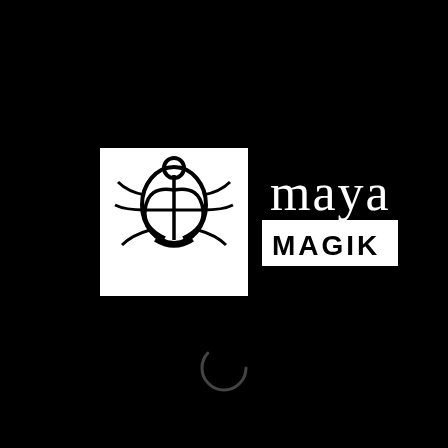[Figure (logo): Maya Magik logo on black background. Left side: white square with black scarab beetle icon. Right side: text 'maya' in lowercase white serif/sans font above a white rectangle containing 'MAGIK' in uppercase black letters. Below the logo is a loading spinner circle arc in dark gray.]